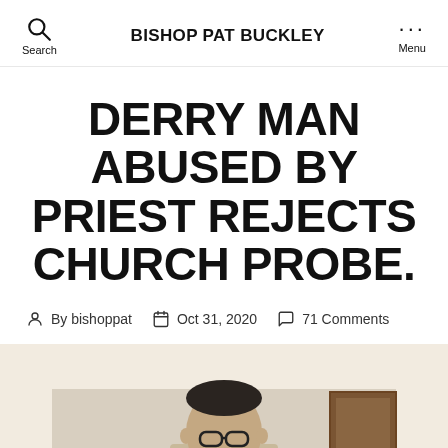BISHOP PAT BUCKLEY
DERRY MAN ABUSED BY PRIEST REJECTS CHURCH PROBE.
By bishoppat   Oct 31, 2020   71 Comments
[Figure (photo): Beige background section with photo of a man wearing glasses, with a framed picture visible on the right side]